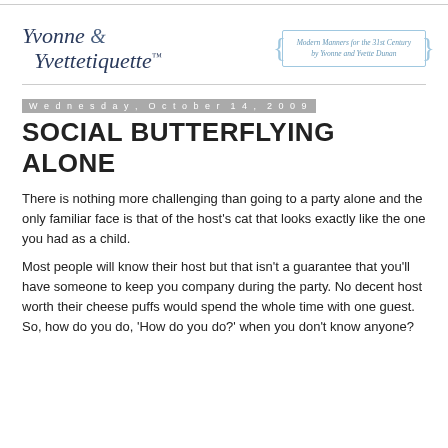Yvonne & Yvettetiquette™ — Modern Manners for the 31st Century by Yvonne and Yvette Dunan
Wednesday, October 14, 2009
SOCIAL BUTTERFLYING ALONE
There is nothing more challenging than going to a party alone and the only familiar face is that of the host's cat that looks exactly like the one you had as a child.
Most people will know their host but that isn't a guarantee that you'll have someone to keep you company during the party. No decent host worth their cheese puffs would spend the whole time with one guest. So, how do you do, 'How do you do?' when you don't know anyone?